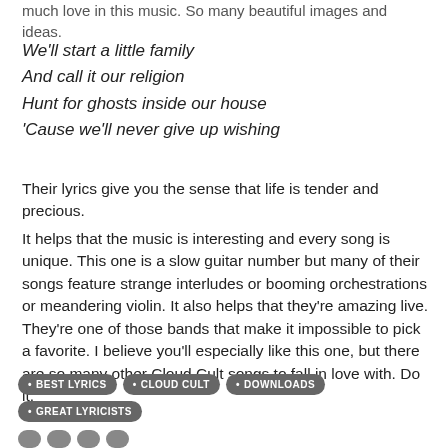much love in this music. So many beautiful images and ideas.
We'll start a little family
And call it our religion
Hunt for ghosts inside our house
'Cause we'll never give up wishing
Their lyrics give you the sense that life is tender and precious.
It helps that the music is interesting and every song is unique. This one is a slow guitar number but many of their songs feature strange interludes or booming orchestrations or meandering violin. It also helps that they're amazing live. They're one of those bands that make it impossible to pick a favorite. I believe you'll especially like this one, but there are so many other Cloud Cult songs to fall in love with. Do it.
• BEST LYRICS
• CLOUD CULT
• DOWNLOADS
• GREAT LYRICISTS